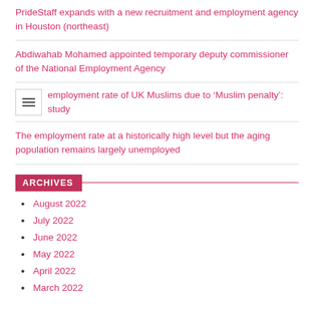PrideStaff expands with a new recruitment and employment agency in Houston (northeast)
Abdiwahab Mohamed appointed temporary deputy commissioner of the National Employment Agency
employment rate of UK Muslims due to 'Muslim penalty': study
The employment rate at a historically high level but the aging population remains largely unemployed
ARCHIVES
August 2022
July 2022
June 2022
May 2022
April 2022
March 2022